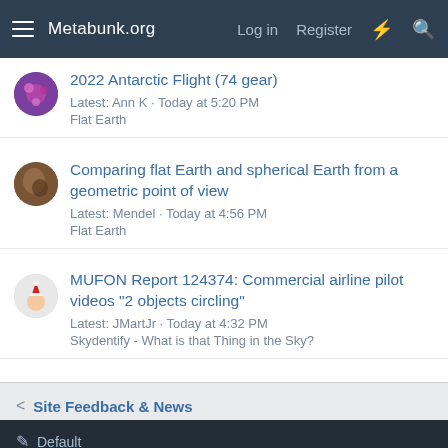Metabunk.org — Log in  Register
2022 Antarctic Flight (74 gear)
Latest: Ann K · Today at 5:20 PM
Flat Earth
Comparing flat Earth and spherical Earth from a geometric point of view
Latest: Mendel · Today at 4:56 PM
Flat Earth
MUFON Report 124374: Commercial airline pilot videos "2 objects circling"
Latest: JMartJr · Today at 4:32 PM
Skydentify - What is that Thing in the Sky?
< Site Feedback & News
Default
Contact us  Terms and rules  Privacy policy  Help
Community platform by XenForo® © 2010-2022 XenForo Ltd.
XenPorta 2 PRO © Jason Axelrod of 8WAYRUN